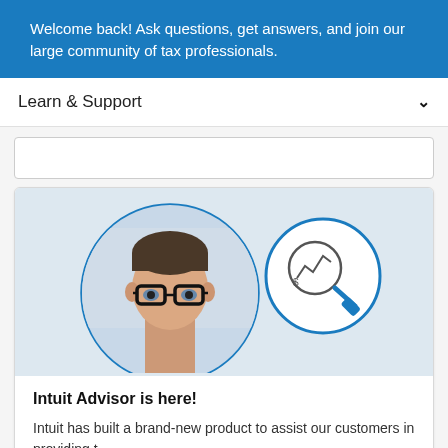Welcome back! Ask questions, get answers, and join our large community of tax professionals.
Learn & Support
[Figure (screenshot): Search box input field, empty, with rounded border]
[Figure (photo): Promotional card image showing a man with glasses and a financial analytics icon (magnifying glass with chart and dollar sign) in overlapping circles. Left circle contains a photo of a middle-aged man with dark hair and glasses. Right circle contains a line chart with magnifying glass and dollar sign icon.]
Intuit Advisor is here!
Intuit has built a brand-new product to assist our customers in providing t...